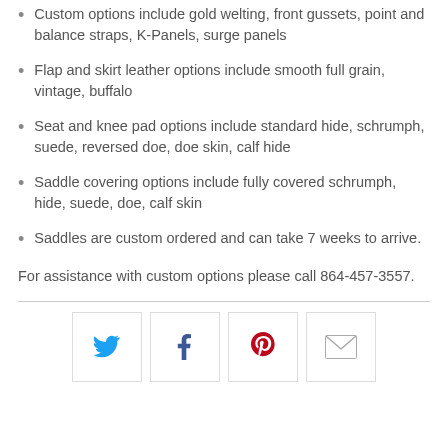Custom options include gold welting, front gussets, point and balance straps, K-Panels, surge panels
Flap and skirt leather options include smooth full grain, vintage, buffalo
Seat and knee pad options include standard hide, schrumph, suede, reversed doe, doe skin, calf hide
Saddle covering options include fully covered schrumph, hide, suede, doe, calf skin
Saddles are custom ordered and can take 7 weeks to arrive.
For assistance with custom options please call 864-457-3557.
[Figure (infographic): Social sharing buttons: Twitter (blue bird), Facebook (f), Pinterest (red P), Email (envelope icon)]